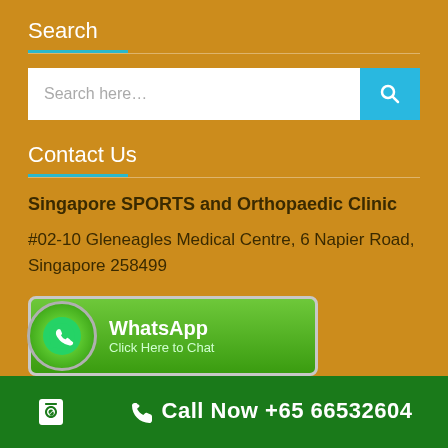Search
[Figure (screenshot): Search input box with placeholder 'Search here...' and a teal search button with magnifying glass icon]
Contact Us
Singapore SPORTS and Orthopaedic Clinic
#02-10 Gleneagles Medical Centre, 6 Napier Road, Singapore 258499
[Figure (logo): WhatsApp button with green background, WhatsApp phone icon in circle, text 'WhatsApp Click Here to Chat']
Call Now +65 66532604